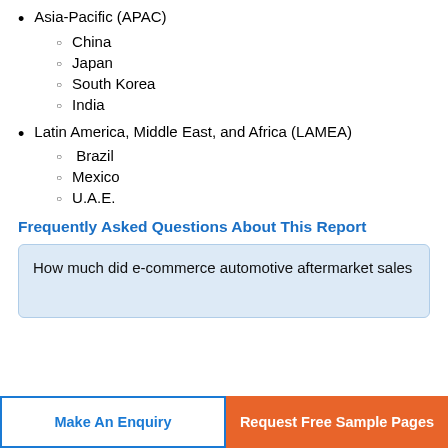Asia-Pacific (APAC)
China
Japan
South Korea
India
Latin America, Middle East, and Africa (LAMEA)
Brazil
Mexico
U.A.E.
Frequently Asked Questions About This Report
How much did e-commerce automotive aftermarket sales
Make An Enquiry
Request Free Sample Pages